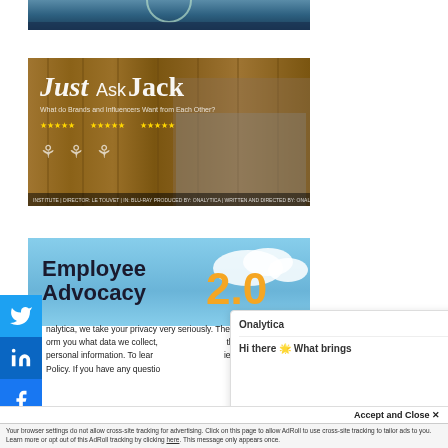[Figure (photo): Top portion of a landscape/nature photo with dark tones, partially cropped at the top]
[Figure (photo): Movie poster for 'Just Ask Jack' — shows a young man in a tweed jacket leaning against wooden planks, with star ratings and award laurels]
[Figure (photo): Book/report cover for 'Employee Advocacy 2.0' with blue sky background and yellow/orange '2.0' text]
nalytica, we take your privacy very seriously. Therefore we would like to inform you what data we collect, th personal information. To learn ie Policy. If you have any questio
Onalytica
Hi there 🌟 What brings
Accept and Close ✕
Your browser settings do not allow cross-site tracking for advertising. Click on this page to allow AdRoll to use cross-site tracking to tailor ads to you. Learn more or opt out of this AdRoll tracking by clicking here. This message only appears once.